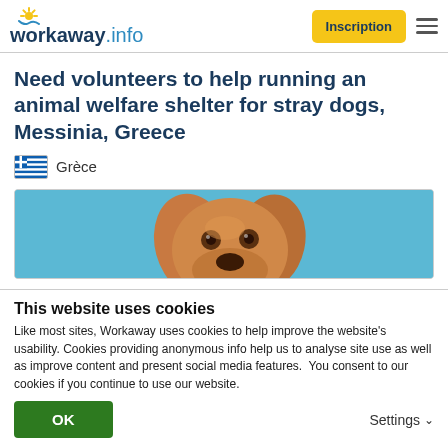workaway.info — Inscription [menu]
Need volunteers to help running an animal welfare shelter for stray dogs, Messinia, Greece
Grèce
[Figure (photo): Close-up photo of a tan/brown dog's face looking up against a bright blue sky background]
This website uses cookies
Like most sites, Workaway uses cookies to help improve the website's usability. Cookies providing anonymous info help us to analyse site use as well as improve content and present social media features.  You consent to our cookies if you continue to use our website.
OK    Settings